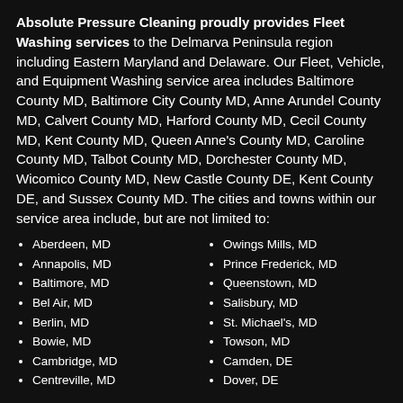Absolute Pressure Cleaning proudly provides Fleet Washing services to the Delmarva Peninsula region including Eastern Maryland and Delaware. Our Fleet, Vehicle, and Equipment Washing service area includes Baltimore County MD, Baltimore City County MD, Anne Arundel County MD, Calvert County MD, Harford County MD, Cecil County MD, Kent County MD, Queen Anne's County MD, Caroline County MD, Talbot County MD, Dorchester County MD, Wicomico County MD, New Castle County DE, Kent County DE, and Sussex County MD. The cities and towns within our service area include, but are not limited to:
Aberdeen, MD
Annapolis, MD
Baltimore, MD
Bel Air, MD
Berlin, MD
Bowie, MD
Cambridge, MD
Centreville, MD
Owings Mills, MD
Prince Frederick, MD
Queenstown, MD
Salisbury, MD
St. Michael's, MD
Towson, MD
Camden, DE
Dover, DE